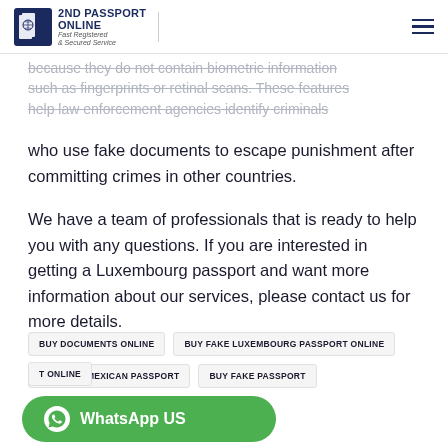2ND PASSPORT ONLINE | Fast Registered & Secured Service
because they do not contain biometric information such as fingerprints or retinal scans. These features help law enforcement agencies identify criminals who use fake documents to escape punishment after committing crimes in other countries.
We have a team of professionals that is ready to help you with any questions. If you are interested in getting a Luxembourg passport and want more information about our services, please contact us for more details.
BUY DOCUMENTS ONLINE
BUY FAKE LUXEMBOURG PASSPORT ONLINE
BUY FAKE MEXICAN PASSPORT
BUY FAKE PASSPORT
BUY FAKE PASSPORT ONLINE
T ONLINE
WhatsApp US